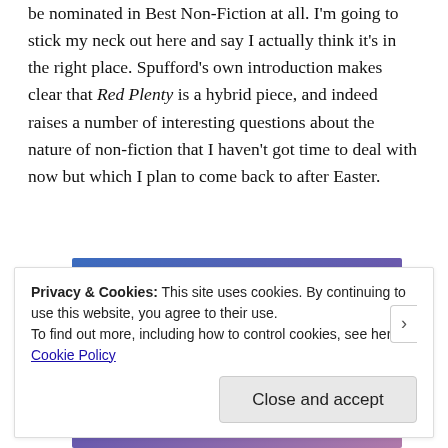be nominated in Best Non-Fiction at all. I'm going to stick my neck out here and say I actually think it's in the right place. Spufford's own introduction makes clear that Red Plenty is a hybrid piece, and indeed raises a number of interesting questions about the nature of non-fiction that I haven't got time to deal with now but which I plan to come back to after Easter.
[Figure (screenshot): Advertisement banner showing 'Build Your Website' button on a blue-to-purple gradient background with a tan/beige price tag icon on the right.]
Privacy & Cookies: This site uses cookies. By continuing to use this website, you agree to their use.
To find out more, including how to control cookies, see here:
Cookie Policy
Close and accept